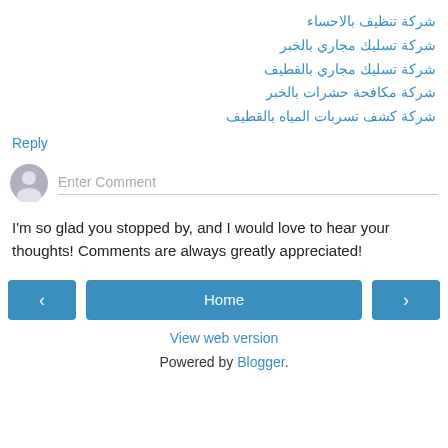شركة تنظيف بالاحساء
شركة تسليك مجاري بالخبر
شركة تسليك مجاري بالقطيف
شركة مكافحة حشرات بالخبر
شركة كشف تسربات المياه بالقطيف
Reply
[Figure (other): Comment input field with user avatar placeholder icon]
I'm so glad you stopped by, and I would love to hear your thoughts! Comments are always greatly appreciated!
Home
View web version
Powered by Blogger.